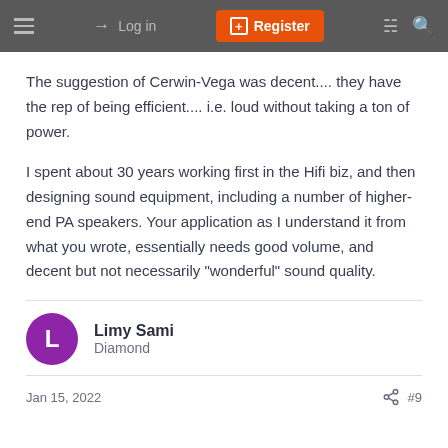Log in | Register
The suggestion of Cerwin-Vega was decent.... they have the rep of being efficient.... i.e. loud without taking a ton of power.
I spent about 30 years working first in the Hifi biz, and then designing sound equipment, including a number of higher-end PA speakers. Your application as I understand it from what you wrote, essentially needs good volume, and decent but not necessarily "wonderful" sound quality.
Limy Sami
Diamond
Jan 15, 2022
#9